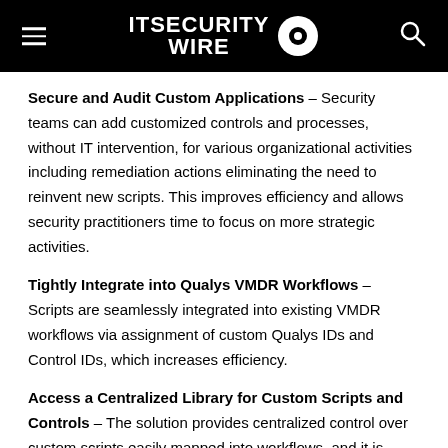ITSECURITY WIRE
Secure and Audit Custom Applications – Security teams can add customized controls and processes, without IT intervention, for various organizational activities including remediation actions eliminating the need to reinvent new scripts. This improves efficiency and allows security practitioners time to focus on more strategic activities.
Tightly Integrate into Qualys VMDR Workflows – Scripts are seamlessly integrated into existing VMDR workflows via assignment of custom Qualys IDs and Control IDs, which increases efficiency.
Access a Centralized Library for Custom Scripts and Controls – The solution provides centralized control over custom scripts easily mapped into workflows, and it is secured by role-based access control (RBAC) as well as review and approval processes. Additionally, deployment of scripts is simplified by using a centrally managed and